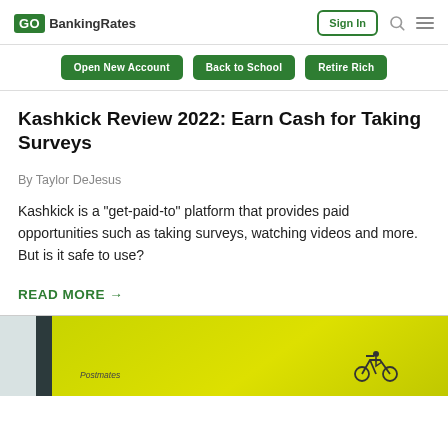GoBankingRates
Open New Account | Back to School | Retire Rich
Kashkick Review 2022: Earn Cash for Taking Surveys
By Taylor DeJesus
Kashkick is a "get-paid-to" platform that provides paid opportunities such as taking surveys, watching videos and more. But is it safe to use?
READ MORE →
[Figure (photo): Partial bottom image showing a yellow Postmates card with bicycle courier logo against a blurred background]